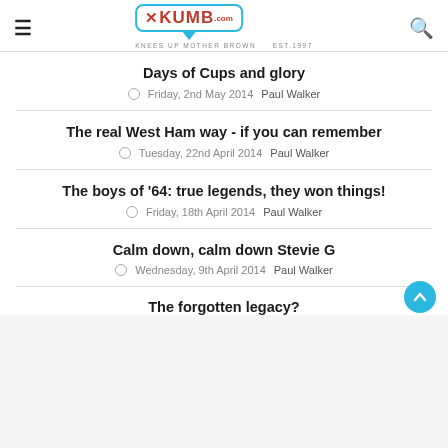XKUMB.com — KNEES UP MOTHER BROWN EST.1997
Days of Cups and glory
Friday, 2nd May 2014   Paul Walker
The real West Ham way - if you can remember
Tuesday, 22nd April 2014   Paul Walker
The boys of '64: true legends, they won things!
Friday, 18th April 2014   Paul Walker
Calm down, calm down Stevie G
Wednesday, 9th April 2014   Paul Walker
The forgotten legacy?